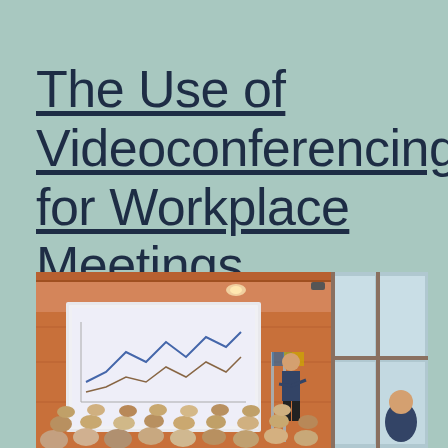The Use of Videoconferencing for Workplace Meetings
[Figure (photo): A presenter stands at the front of a large conference room presenting to a seated audience. Behind the presenter is a projection screen showing a line chart. The room has warm wood-paneled walls and large windows. Audience members are seen from behind.]